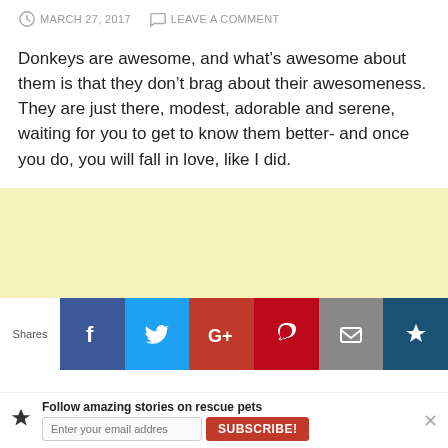MARCH 27, 2017   LEAVE A COMMENT
Donkeys are awesome, and what’s awesome about them is that they don’t brag about their awesomeness. They are just there, modest, adorable and serene, waiting for you to get to know them better- and once you do, you will fall in love, like I did.
[Figure (other): Yellow/cream colored advertisement banner placeholder]
[Figure (infographic): Social sharing bar with Facebook, Twitter, Google+, Pinterest, Email, and Crown buttons, with Shares label on the left]
[Figure (infographic): Email subscription bar at bottom: crown icon, Follow amazing stories on rescue pets, email input field, SUBSCRIBE button, and X close button]